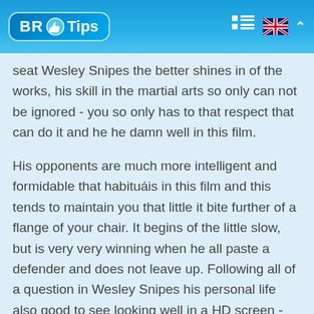[Figure (logo): BR Tips logo with thumbs up icon in a blue rounded rectangle, followed by a list/menu icon and UK flag icon with upward chevron in the header bar]
seat Wesley Snipes the better shines in of the works, his skill in the martial arts so only can not be ignored - you so only has to that respect that can do it and he he damn well in this film.
His opponents are much more intelligent and formidable that habituáis in this film and this tends to maintain you that little it bite further of a flange of your chair. It begins of the little slow, but is very very winning when he all paste a defender and does not leave up. Following all of a question in Wesley Snipes his personal life also good to see looking well in a HD screen - age well and has to